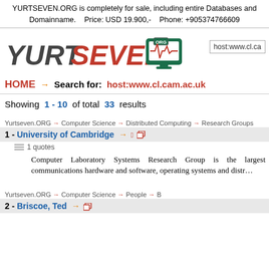YURTSEVEN.ORG is completely for sale, including entire Databases and Domainname.    Price: USD 19.900,-    Phone: +905374766609
[Figure (logo): YURTSEVEN.ORG logo with stylized text and computer monitor icon with ORG badge, plus host:www.cl.ca search box]
HOME → Search for: host:www.cl.cam.ac.uk
Showing 1 - 10 of total 33 results
Yurtseven.ORG → Computer Science → Distributed Computing → Research Groups
1 - University of Cambridge
1 quotes
Computer Laboratory Systems Research Group is the largest communications hardware and software, operating systems and distr...
Yurtseven.ORG → Computer Science → People → B
2 - Briscoe, Ted